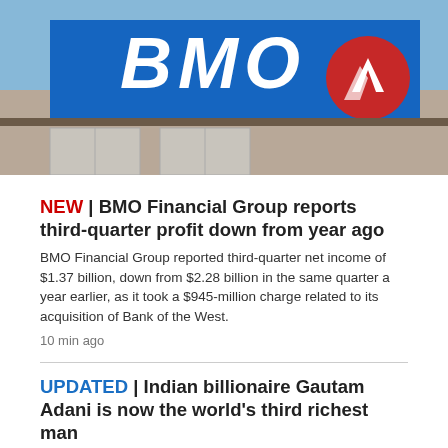[Figure (photo): Photo of a BMO Financial Group bank building exterior sign showing the BMO letters in white on a blue background with a red circular logo]
NEW | BMO Financial Group reports third-quarter profit down from year ago
BMO Financial Group reported third-quarter net income of $1.37 billion, down from $2.28 billion in the same quarter a year earlier, as it took a $945-million charge related to its acquisition of Bank of the West.
10 min ago
UPDATED | Indian billionaire Gautam Adani is now the world's third richest man
18 min ago